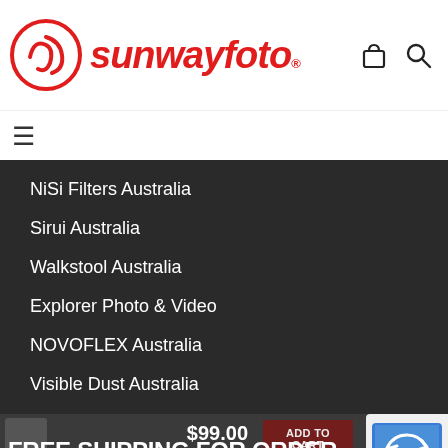[Figure (logo): Sunwayfoto logo: red circle with stylized camera icon and red italic text 'sunwayfoto' with registered trademark symbol]
[Figure (other): Shopping bag icon and magnifying glass search icon in top right of header]
[Figure (other): Hamburger menu icon (three horizontal lines)]
NiSi Filters Australia
Sirui Australia
Walkstool Australia
Explorer Photo & Video
NOVOFLEX Australia
Visible Dust Australia
$99.00
Sunwayfoto
ADD TO CART
FREE SHIPPING FOR ORDERS OVER $69